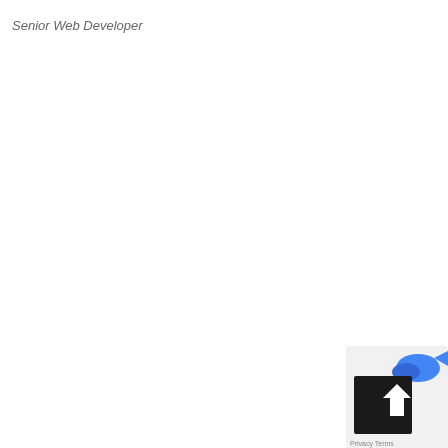Senior Web Developer
[Figure (screenshot): Partial UI element in bottom-right corner showing a dark square button with an upward arrow icon, and a blue fish/dolphin graphic partially visible to the right, with 'Privacy' and 'Terms' text partially visible below.]